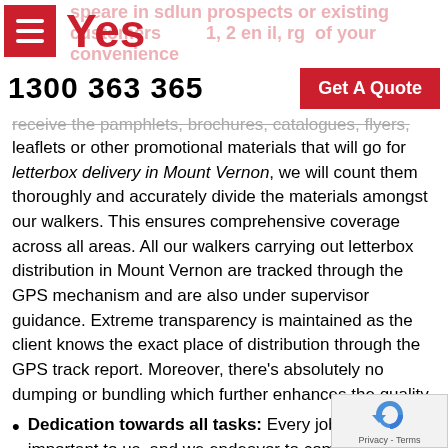Yes | 1300 363 365 | Get A Quote
receive the pamphlets, brochures, catalogues, flyers, leaflets or other promotional materials that will go for letterbox delivery in Mount Vernon, we will count them thoroughly and accurately divide the materials amongst our walkers. This ensures comprehensive coverage across all areas. All our walkers carrying out letterbox distribution in Mount Vernon are tracked through the GPS mechanism and are also under supervisor guidance. Extreme transparency is maintained as the client knows the exact place of distribution through the GPS track report. Moreover, there's absolutely no dumping or bundling which further enhances the quality.
Dedication towards all tasks: Every job is equally important to us, and we endeavor to complete it with sincerity and dedication, so that the client gets nothing less than